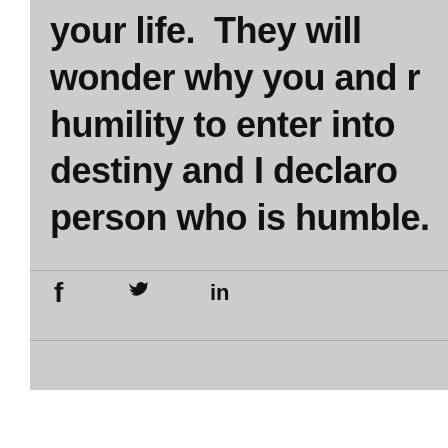your life.  They will wonder why you and r humility to enter into destiny and I declaro person who is humble.
[Figure (other): Social share icons: Facebook (f), Twitter (bird), LinkedIn (in)]